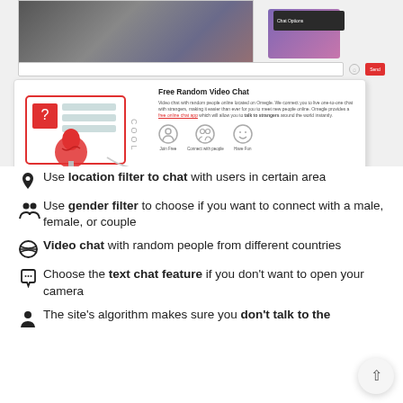[Figure (screenshot): Screenshot of a free random video chat website showing a blurred video chat interface at top and a card with title 'Free Random Video Chat', description text, and three icons: Join Free, Connect with people, Have Fun]
Use location filter to chat with users in certain area
Use gender filter to choose if you want to connect with a male, female, or couple
Video chat with random people from different countries
Choose the text chat feature if you don't want to open your camera
The site's algorithm makes sure you don't talk to the